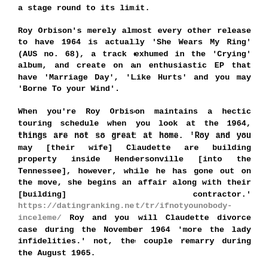a stage round to its limit.
Roy Orbison's merely almost every other release to have 1964 is actually ‘She Wears My Ring’ (AUS no. 68), a track exhumed in the ‘Crying’ album, and create on an enthusiastic EP that have ‘Marriage Day’, ‘Like Hurts’ and you may ‘Borne To your Wind’.
When you’re Roy Orbison maintains a hectic touring schedule when you look at the 1964, things are not so great at home. ‘Roy and you may [their wife] Claudette are building property inside Hendersonville [into the Tennessee], however, while he has gone out on the move, she begins an affair along with their [building] contractor.’ https://datingranking.net/tr/ifnotyounobody-inceleme/ Roy and you will Claudette divorce case during the November 1964 ‘more the lady infidelities.’ not, the couple remarry during the August 1965.
On 21 January 1965 Roy Orbison initiate an Australian trip from inside the the company away from Uk rock-band The newest Going Rocks.